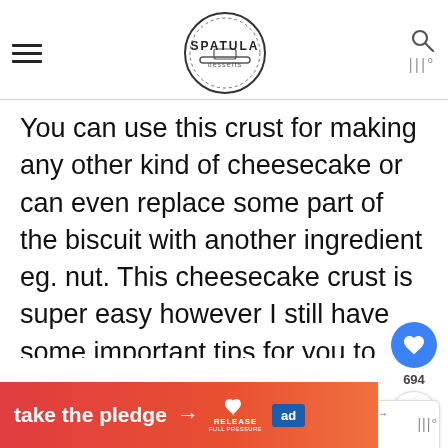Spatula Desserts
You can use this crust for making any other kind of cheesecake or can even replace some part of the biscuit with another ingredient eg. nut. This cheesecake crust is super easy however I still have some important tips for you to make sure that your crust will turn out neat a…d to hold the filli…
[Figure (other): Social interaction buttons: like (heart, 694) and share]
[Figure (other): What's Next widget showing No-bake Strawberry...]
[Figure (other): Orange/red ad banner at bottom: take the pledge with arrow, RELEASE logo and ed logo]